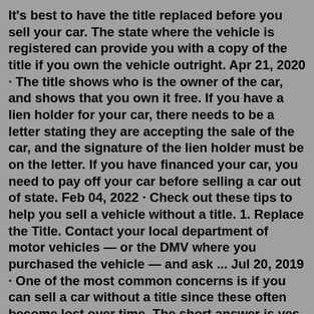It's best to have the title replaced before you sell your car. The state where the vehicle is registered can provide you with a copy of the title if you own the vehicle outright. Apr 21, 2020 · The title shows who is the owner of the car, and shows that you own it free. If you have a lien holder for your car, there needs to be a letter stating they are accepting the sale of the car, and the signature of the lien holder must be on the letter. If you have financed your car, you need to pay off your car before selling a car out of state. Feb 04, 2022 · Check out these tips to help you sell a vehicle without a title. 1. Replace the Title. Contact your local department of motor vehicles — or the DMV where you purchased the vehicle — and ask ... Jul 20, 2019 · One of the most common concerns is if you can sell a car without a title since these often become lost over time. The short answer is yes, it is possible to sell a car without a title in some cases, but there are a few things to be aware of. The last situation you want to be in is being ready to complete a sale but not being able to do so. Jan 17, 2021 · Not...